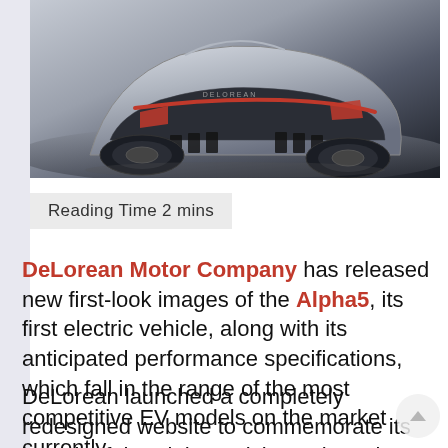[Figure (photo): Rear three-quarter view of the DeLorean Alpha5 electric vehicle concept car, silver body with red accent stripe across the rear, dramatic styling, shot against a blurred grey background]
Reading Time 2 mins
DeLorean Motor Company has released new first-look images of the Alpha5, its first electric vehicle, along with its anticipated performance specifications, which fall in the range of the most competitive EV models on the market currently.
DeLorean launched a completely redesigned website to commemorate its launch of the Alpha5, giving only early access subscribers a